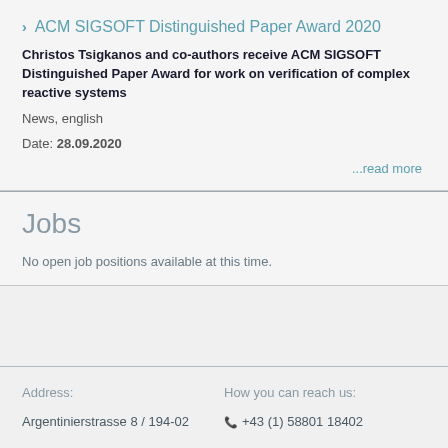ACM SIGSOFT Distinguished Paper Award 2020
Christos Tsigkanos and co-authors receive ACM SIGSOFT Distinguished Paper Award for work on verification of complex reactive systems
News, english
Date: 28.09.2020
...read more
Jobs
No open job positions available at this time.
Address:
Argentinierstrasse 8 / 194-02
How you can reach us:
+43 (1) 58801 18402